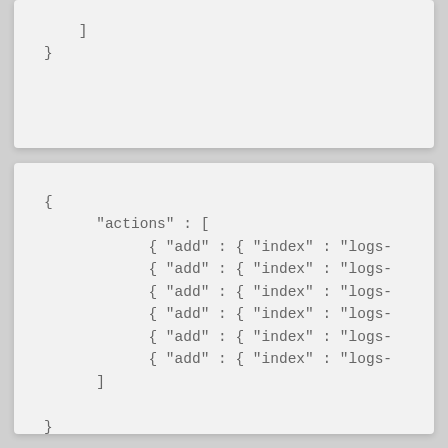]
}
{
      "actions" : [
            { "add" : { "index" : "logs-
            { "add" : { "index" : "logs-
            { "add" : { "index" : "logs-
            { "add" : { "index" : "logs-
            { "add" : { "index" : "logs-
            { "add" : { "index" : "logs-
      ]
}